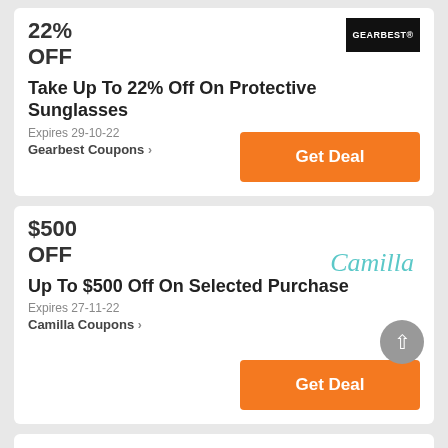22% OFF
Take Up To 22% Off On Protective Sunglasses
Expires 29-10-22
Gearbest Coupons >
[Figure (logo): GearBest logo — white text on black background]
Get Deal
$500 OFF
Up To $500 Off On Selected Purchase
Expires 27-11-22
Camilla Coupons >
[Figure (logo): Camilla logo — teal cursive script]
Get Deal
SALES